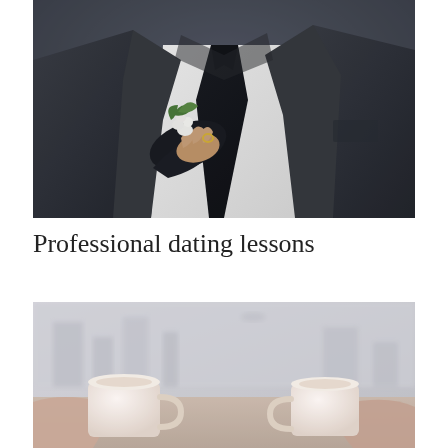[Figure (photo): A person in a dark suit with a white boutonniere being pinned to the lapel, wearing a dark tie and white shirt. Close-up chest/torso shot of a man being dressed for a formal occasion.]
Professional dating lessons
[Figure (photo): Two people holding coffee mugs or cups, toasting or clinking them together, with a blurred city or cafe background visible through a window. Warm, soft-focus image suggesting a casual meeting or date.]